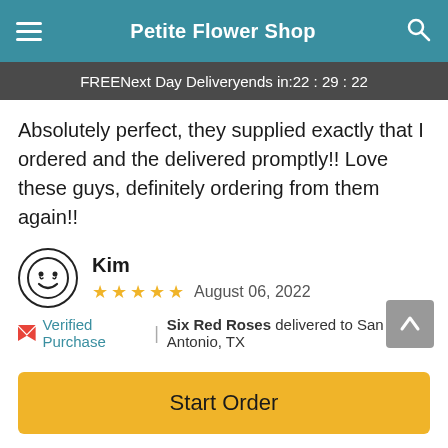Petite Flower Shop
FREE Next Day Delivery ends in: 22:29:22
Absolutely perfect, they supplied exactly that I ordered and the delivered promptly!! Love these guys, definitely ordering from them again!!
Kim — August 06, 2022 — 5 stars
Verified Purchase | Six Red Roses delivered to San Antonio, TX
These guys accommodated with the situation perfectly!! They made everyone smile!!! Thank you so much for being amazing!!!
Start Order